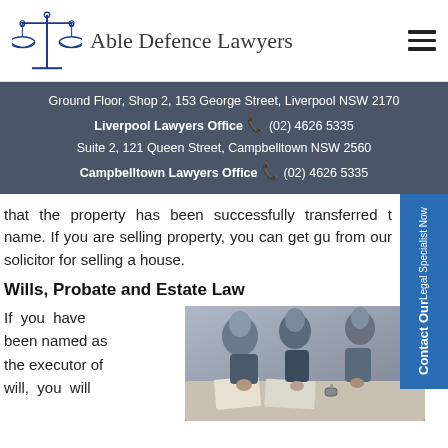Able Defence Lawyers
Ground Floor, Shop 2, 153 George Street, Liverpool NSW 2170
Liverpool Lawyers Office (02) 4626 5335
Suite 2, 121 Queen Street, Campbelltown NSW 2560
Campbelltown Lawyers Office (02) 4626 5335
that the property has been successfully transferred t name. If you are selling property, you can get gu from our solicitor for selling a house.
Wills, Probate and Estate Law
If you have been named as the executor of will, you will
[Figure (photo): People sitting at a table in a meeting or consultation, photographed from above at an angle. Multiple individuals visible, one wearing a watch, papers on table.]